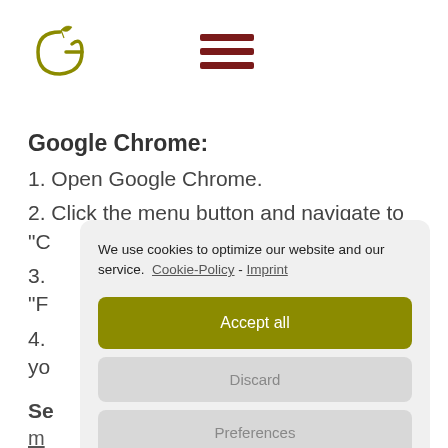[Figure (logo): Stylized letter G with a leaf on top, olive/gold color, website logo]
[Figure (illustration): Hamburger menu icon with three dark red horizontal bars]
Google Chrome:
1. Open Google Chrome.
2. Click the menu button and navigate to "C
3. "F
4. yo
Se
m
We use cookies to optimize our website and our service.  Cookie-Policy - Imprint
Accept all
Discard
Preferences